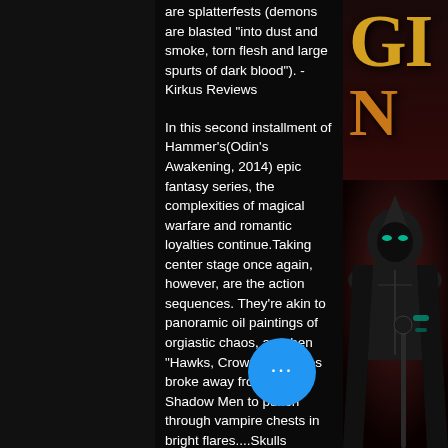are splatterfests (demons are blasted "into dust and smoke, torn flesh and large spurts of dark blood"). - Kirkus Reviews
In this second installment of Hammer's(Odin's Awakening, 2014) epic fantasy series, the complexities of magical warfare and romantic loyalties continue.Taking center stage once again, however, are the action sequences. They're akin to panoramic oil paintings of orgiastic chaos, as when "Hawks, Crows and Pixies broke away from the Shadow Men to punch through vampire chests in bright flares....Skulls exploded on impact,
[Figure (illustration): Right panel showing partial letters of a fantasy book title in gold/orange on dark red background, with an armored dark fantasy figure (hooded knight) visible in the lower portion]